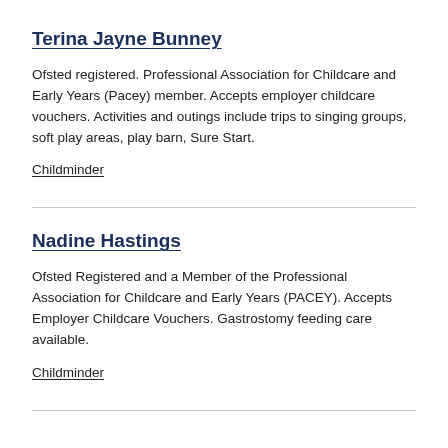Terina Jayne Bunney
Ofsted registered. Professional Association for Childcare and Early Years (Pacey) member. Accepts employer childcare vouchers. Activities and outings include trips to singing groups, soft play areas, play barn, Sure Start.
Childminder
Nadine Hastings
Ofsted Registered and a Member of the Professional Association for Childcare and Early Years (PACEY). Accepts Employer Childcare Vouchers. Gastrostomy feeding care available.
Childminder